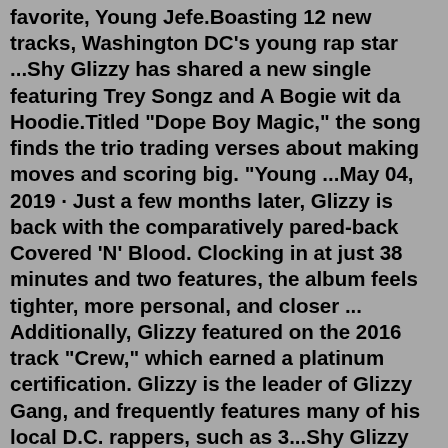favorite, Young Jefe.Boasting 12 new tracks, Washington DC's young rap star ...Shy Glizzy has shared a new single featuring Trey Songz and A Bogie wit da Hoodie.Titled "Dope Boy Magic," the song finds the trio trading verses about making moves and scoring big. "Young ...May 04, 2019 · Just a few months later, Glizzy is back with the comparatively pared-back Covered 'N' Blood. Clocking in at just 38 minutes and two features, the album feels tighter, more personal, and closer ... Additionally, Glizzy featured on the 2016 track "Crew," which earned a platinum certification. Glizzy is the leader of Glizzy Gang, and frequently features many of his local D.C. rappers, such as 3...Shy Glizzy drops 'Quiet Storm' mixtape, playing SOB's. The mixtape features Trey Songz, A Boogie Wit Da Hoodie, Dave East, and more; and the SOB's show is with Rich the Kid, Moneybagg Yo ...DMV rapper Shy Glizzy shared his latest project, Young Jefe 3, on Friday.The mixtape serves as the rapper's first project since his 2019 album Covered N Blood, and the first official follow-